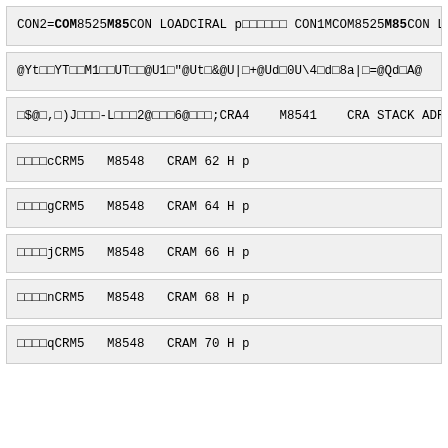CON2=COM8525M85CON LOADCIRALp□□□□□□ CON1MCOM8525M85CON L
@Yt□□YT□□M1□□UT□□@U1□"@Ut□&@U|□+@Ud□0U\4□d□8a|□=@Qd□A@
□$@□,□)J□□□-L□□□2@□□□6@□□□;CRA4   M8541   CRA STACK ADR
□□□□cCRM5   M8548   CRAM 62 H p
□□□□gCRM5   M8548   CRAM 64 H p
□□□□jCRM5   M8548   CRAM 66 H p
□□□□nCRM5   M8548   CRAM 68 H p
□□□□qCRM5   M8548   CRAM 70 H p